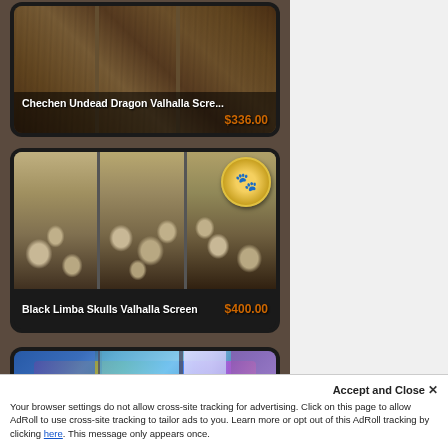[Figure (photo): Product listing card: Chechen Undead Dragon Valhalla Screen, carved wood screen with dragon design, price $336.00]
[Figure (photo): Product listing card: Black Limba Skulls Valhalla Screen, carved wood screen with skulls texture and gold paw print badge, price $400.00]
[Figure (photo): Product listing card: partially visible colored fantasy screen at bottom]
Accept and Close ×
Your browser settings do not allow cross-site tracking for advertising. Click on this page to allow AdRoll to use cross-site tracking to tailor ads to you. Learn more or opt out of this AdRoll tracking by clicking here. This message only appears once.